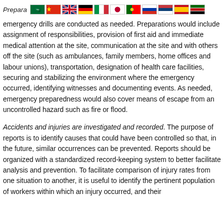Prepara... [flags row for multiple languages]
emergency drills are conducted as needed. Preparations would include assignment of responsibilities, provision of first aid and immediate medical attention at the site, communication at the site and with others off the site (such as ambulances, family members, home offices and labour unions), transportation, designation of health care facilities, securing and stabilizing the environment where the emergency occurred, identifying witnesses and documenting events. As needed, emergency preparedness would also cover means of escape from an uncontrolled hazard such as fire or flood.
Accidents and injuries are investigated and recorded. The purpose of reports is to identify causes that could have been controlled so that, in the future, similar occurrences can be prevented. Reports should be organized with a standardized record-keeping system to better facilitate analysis and prevention. To facilitate comparison of injury rates from one situation to another, it is useful to identify the pertinent population of workers within which an injury occurred, and their